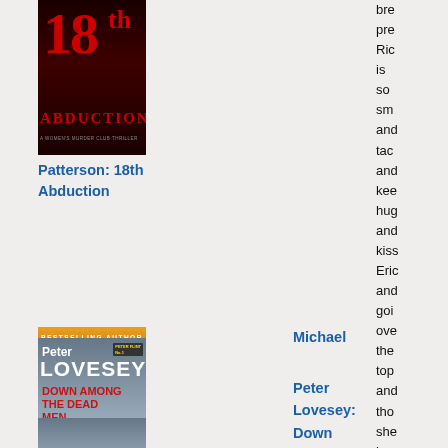[Figure (illustration): Book cover: Patterson 18th Abduction - dark red/black cover with large '18th' text and 'ABDUCTION' text]
Patterson: 18th Abduction
[Figure (illustration): Book cover: Michael Connelly The Night Fire - fiery sunset background with title text]
Michael
Connelly: The Night Fire
[Figure (illustration): Book cover: Peter Lovesey Down Among the Dead Men - grey building/castle background]
Peter Lovesey: Down Among the Dead Men
bre
pre
Ric
is
so
sm
and
tac
and
kee
hug
and
kiss
Eric
and
goi
ove
the
top
and
tho
she
has